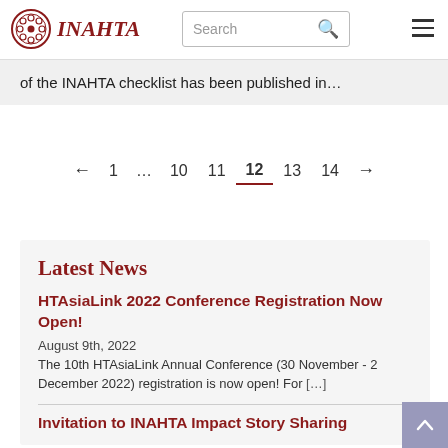INAHTA
of the INAHTA checklist has been published in…
← 1 … 10 11 12 13 14 →
Latest News
HTAsiaLink 2022 Conference Registration Now Open!
August 9th, 2022
The 10th HTAsiaLink Annual Conference (30 November - 2 December 2022) registration is now open! For [...]
Invitation to INAHTA Impact Story Sharing